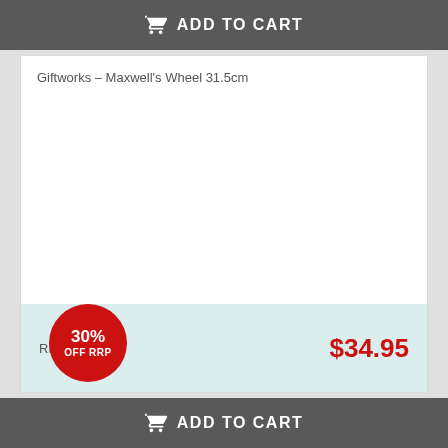ADD TO CART
Giftworks – Maxwell's Wheel 31.5cm
[Figure (other): Product image area (blank/white background for product photo of Maxwell's Wheel 31.5cm). Contains a red circular badge with '30% OFF RRP'.]
RRP: $49.99    $34.95
ADD TO CART